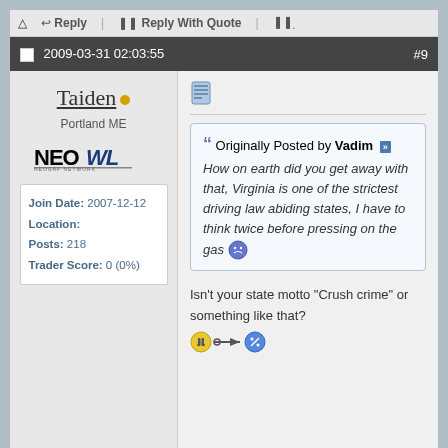Reply | Reply With Quote
2009-03-31 02:03:55 #9
Taiden
Portland ME
NEOWL
Join Date: 2007-12-12
Location:
Posts: 218
Trader Score: 0 (0%)
Originally Posted by Vadim
How on earth did you get away with that, Virginia is one of the strictest driving law abiding states, I have to think twice before pressing on the gas
Isn't your state motto "Crush crime" or something like that?